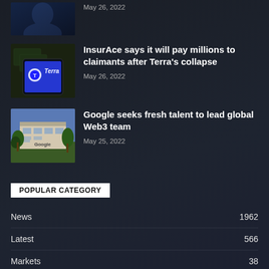May 26, 2022
[Figure (photo): Terra logo on a smartphone screen with dollar bills background]
InsurAce says it will pay millions to claimants after Terra's collapse
May 26, 2022
[Figure (photo): Google campus building exterior with trees]
Google seeks fresh talent to lead global Web3 team
May 25, 2022
POPULAR CATEGORY
News 1962
Latest 566
Markets 38
Exchange 11